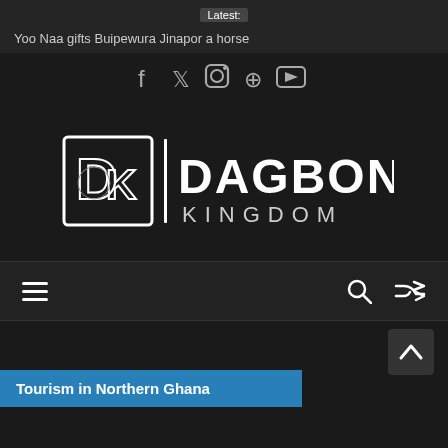Latest:
Yoo Naa gifts Buipewura Jinapor a horse
[Figure (other): Social media icons: Facebook, Twitter, Instagram, Pinterest, YouTube]
[Figure (logo): Dagbon Kingdom logo — DK monogram with lion icon, vertical bar, and DAGBON KINGDOM text]
[Figure (other): Navigation bar with hamburger menu, search icon, and shuffle icon]
[Figure (other): Scroll-to-top arrow button]
Tourism in Northern Ghana